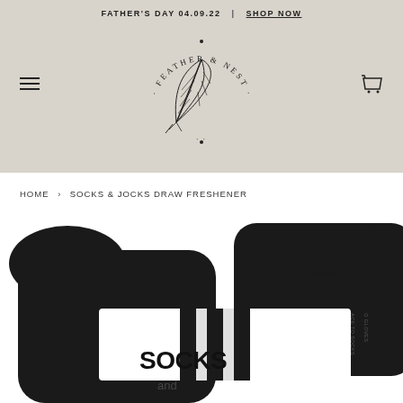FATHER'S DAY 04.09.22 | SHOP NOW
[Figure (logo): Feather & Nest circular logo with feather illustration in center, text arced around reading FEATHER & NEST with dots]
HOME › SOCKS & JOCKS DRAW FRESHENER
[Figure (photo): Close-up product photo of black socks with white stripes packaged with a white label reading SOCKS and and]